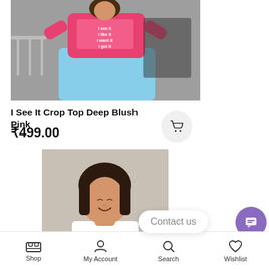[Figure (photo): Woman wearing a pink crop top with text 'I see it, I like it, I want it, I got it' posing near stairs]
I See It Crop Top Deep Blush Pink
₹499.00
[Figure (photo): Young woman with short straight hair smiling, wearing a white top]
Contact us
Shop   My Account   Search   Wishlist